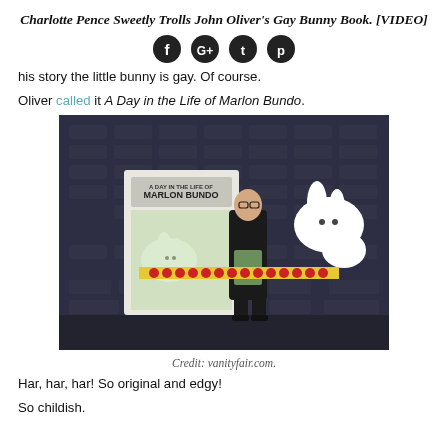Charlotte Pence Sweetly Trolls John Oliver's Gay Bunny Book. [VIDEO]
[Figure (other): Social media share icons: Facebook, Google+, Twitter, Pinterest]
his story the little bunny is gay. Of course.
Oliver called it A Day in the Life of Marlon Bundo.
[Figure (photo): Photo of a man in a dark suit on stage holding a book called Marlon Bundo, with cartoon rabbit imagery on the backdrop behind him.]
Credit: vanityfair.com.
Har, har, har! So original and edgy!
So childish.